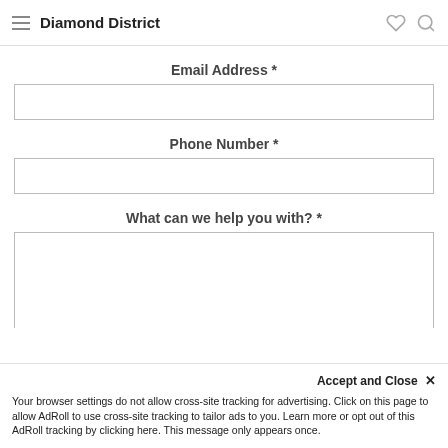Diamond District
Email Address *
Phone Number *
What can we help you with? *
Accept and Close ✕
Your browser settings do not allow cross-site tracking for advertising. Click on this page to allow AdRoll to use cross-site tracking to tailor ads to you. Learn more or opt out of this AdRoll tracking by clicking here. This message only appears once.